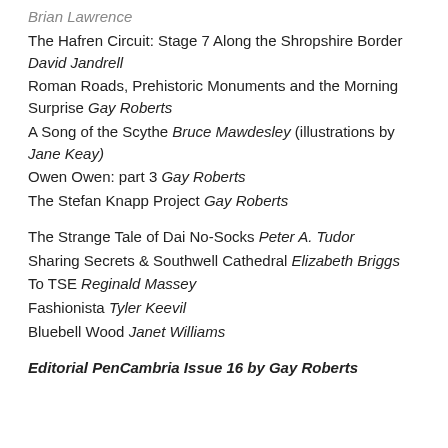Brian Lawrence
The Hafren Circuit: Stage 7 Along the Shropshire Border David Jandrell
Roman Roads, Prehistoric Monuments and the Morning Surprise Gay Roberts
A Song of the Scythe Bruce Mawdesley (illustrations by Jane Keay)
Owen Owen: part 3 Gay Roberts
The Stefan Knapp Project Gay Roberts
The Strange Tale of Dai No-Socks Peter A. Tudor
Sharing Secrets & Southwell Cathedral Elizabeth Briggs
To TSE Reginald Massey
Fashionista Tyler Keevil
Bluebell Wood Janet Williams
Editorial PenCambria Issue 16 by Gay Roberts